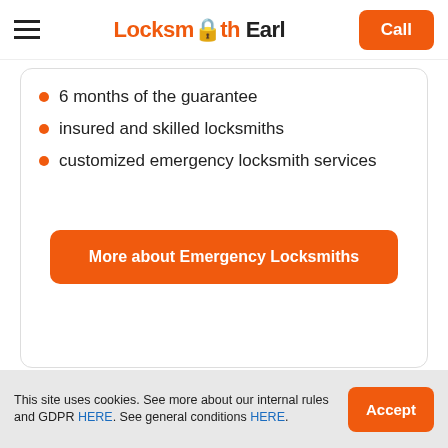Locksmith Earl | Call
6 months of the guarantee
insured and skilled locksmiths
customized emergency locksmith services
More about Emergency Locksmiths
[Figure (photo): Photo of a car and building exterior with blue glass windows, car locksmith scene]
This site uses cookies. See more about our internal rules and GDPR HERE. See general conditions HERE.